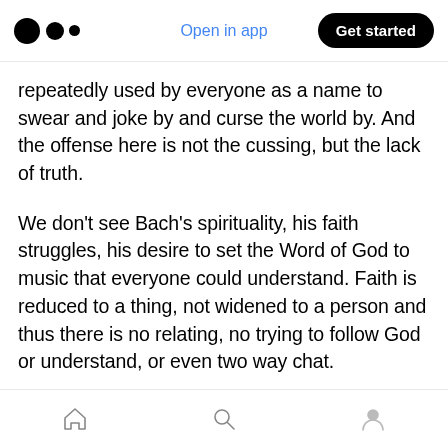Medium app header with logo, Open in app, Get started
repeatedly used by everyone as a name to swear and joke by and curse the world by. And the offense here is not the cussing, but the lack of truth.
We don't see Bach's spirituality, his faith struggles, his desire to set the Word of God to music that everyone could understand. Faith is reduced to a thing, not widened to a person and thus there is no relating, no trying to follow God or understand, or even two way chat.
And it's offensive — it shows that God could
Bottom navigation bar with home, search, and profile icons